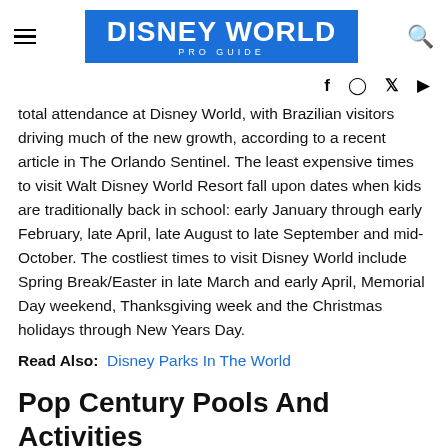DISNEY WORLD PRO GUIDE
total attendance at Disney World, with Brazilian visitors driving much of the new growth, according to a recent article in The Orlando Sentinel. The least expensive times to visit Walt Disney World Resort fall upon dates when kids are traditionally back in school: early January through early February, late April, late August to late September and mid-October. The costliest times to visit Disney World include Spring Break/Easter in late March and early April, Memorial Day weekend, Thanksgiving week and the Christmas holidays through New Years Day.
Read Also: Disney Parks In The World
Pop Century Pools And Activities
Here are some notes of interest in...